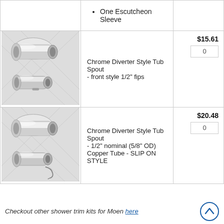One Escutcheon Sleeve
[Figure (photo): Chrome Diverter Style Tub Spout product photo showing two chrome spout pieces]
Chrome Diverter Style Tub Spout - front style 1/2" fips
$15.61
[Figure (photo): Chrome Diverter Style Tub Spout product photo showing two chrome spout pieces]
Chrome Diverter Style Tub Spout - 1/2" nominal (5/8" OD) Copper Tube - SLIP ON STYLE
$20.48
Checkout other shower trim kits for Moen here